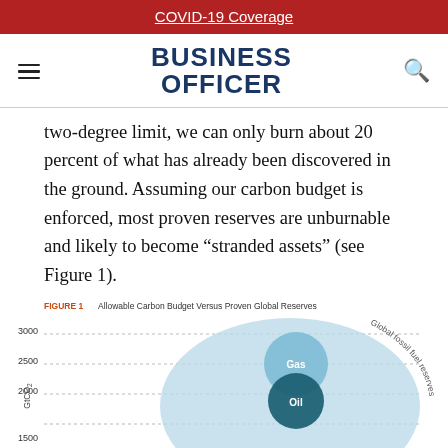COVID-19 Coverage
BUSINESS OFFICER
two-degree limit, we can only burn about 20 percent of what has already been discovered in the ground. Assuming our carbon budget is enforced, most proven reserves are unburnable and likely to become “stranded assets” (see Figure 1).
FIGURE 1 Allowable Carbon Budget Versus Proven Global Reserves
[Figure (other): Partial view of a bubble/area chart showing Allowable Carbon Budget Versus Proven Global Reserves, with y-axis labeled GtCO2 ranging from 1500 to 3000, dotted horizontal gridlines, and overlapping circles labeled Gas (light blue) and Oil (dark teal) within a larger light blue area labeled Global fossil fuel reserves.]